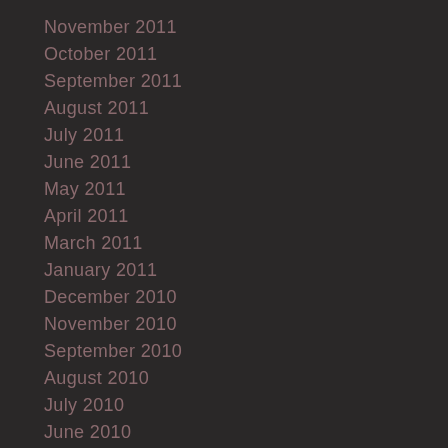November 2011
October 2011
September 2011
August 2011
July 2011
June 2011
May 2011
April 2011
March 2011
January 2011
December 2010
November 2010
September 2010
August 2010
July 2010
June 2010
January 2010
December 2009
October 2009
November 2008